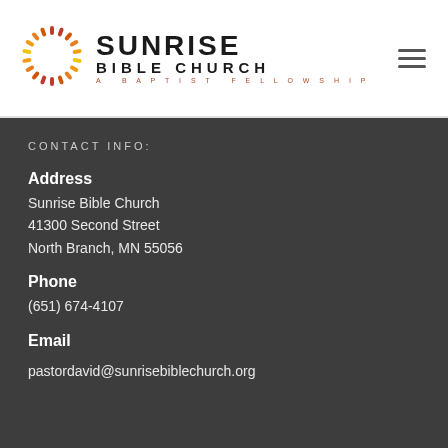[Figure (logo): Sunrise Bible Church logo: radial sun made of colored dashes in red, orange, and yellow, next to text 'SUNRISE BIBLE CHURCH A BAPTIST FELLOWSHIP']
CONTACT INFO:
Address
Sunrise Bible Church
41300 Second Street
North Branch, MN 55056
Phone
(651) 674-4107
Email
pastordavid@sunrisebiblechurch.org